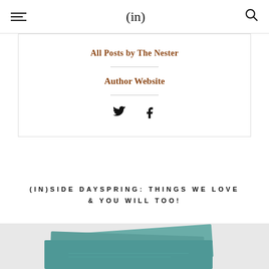(in)
All Posts by The Nester
Author Website
[Figure (other): Twitter and Facebook social media icons]
(IN)SIDE DAYSPRING: THINGS WE LOVE & YOU WILL TOO!
[Figure (photo): Teal/blue-green fabric or textile items photographed on light grey background]